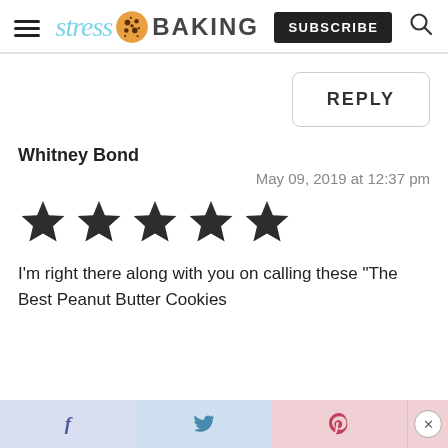stress BAKING | SUBSCRIBE
REPLY
Whitney Bond
May 09, 2019 at 12:37 pm
[Figure (other): Five filled star rating icons]
I’m right there along with you on calling these “The Best Peanut Butter Cookies
f   twitter   p   x